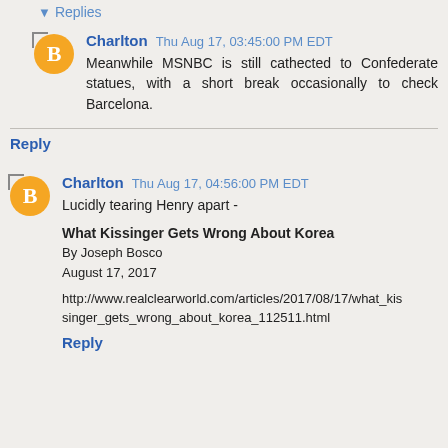▾ Replies
Charlton Thu Aug 17, 03:45:00 PM EDT
Meanwhile MSNBC is still cathected to Confederate statues, with a short break occasionally to check Barcelona.
Reply
Charlton Thu Aug 17, 04:56:00 PM EDT
Lucidly tearing Henry apart -
What Kissinger Gets Wrong About Korea
By Joseph Bosco
August 17, 2017

http://www.realclearworld.com/articles/2017/08/17/what_kissinger_gets_wrong_about_korea_112511.html
Reply